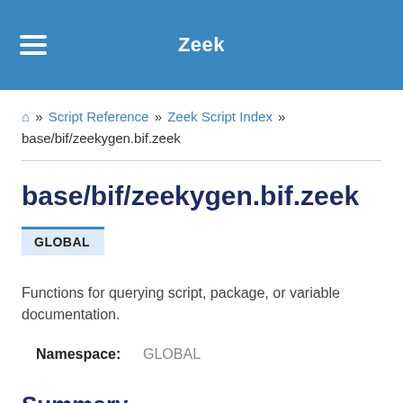Zeek
🏠 » Script Reference » Zeek Script Index » base/bif/zeekygen.bif.zeek
base/bif/zeekygen.bif.zeek
GLOBAL
Functions for querying script, package, or variable documentation.
Namespace:   GLOBAL
Summary